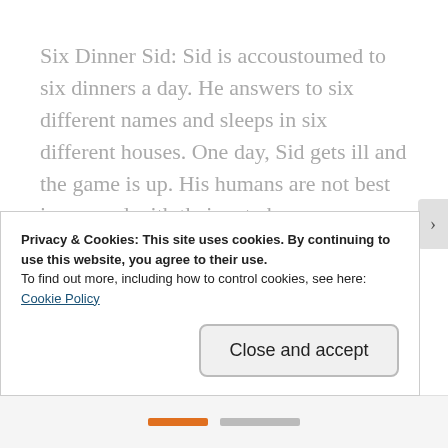Six Dinner Sid: Sid is accoustoumed to six dinners a day. He answers to six different names and sleeps in six different houses. One day, Sid gets ill and the game is up. His humans are not best impressed with their cat-share arrangement. Can Sid find a place where his lifestyle will be accepted?
Some cats eat. And eat. And eat. When I rented a flat, I had regular visits from the handsome tabby upstairs. This chap would fling himself
Privacy & Cookies: This site uses cookies. By continuing to use this website, you agree to their use.
To find out more, including how to control cookies, see here:
Cookie Policy
Close and accept